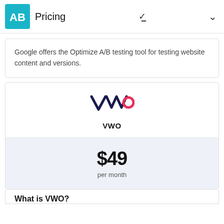Pricing
Google offers the Optimize A/B testing tool for testing website content and versions.
[Figure (logo): VWO logo - stylized VWO text with a pink circle on the O]
VWO
$49 per month
What is VWO?